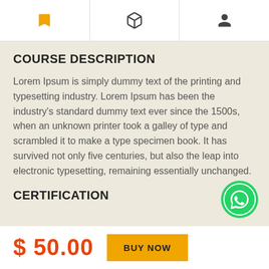[Navigation icons: bookmark, 3D box, person]
COURSE DESCRIPTION
Lorem Ipsum is simply dummy text of the printing and typesetting industry. Lorem Ipsum has been the industry's standard dummy text ever since the 1500s, when an unknown printer took a galley of type and scrambled it to make a type specimen book. It has survived not only five centuries, but also the leap into electronic typesetting, remaining essentially unchanged.
CERTIFICATION
[Figure (logo): WhatsApp green circle icon button]
$ 50.00
BUY NOW